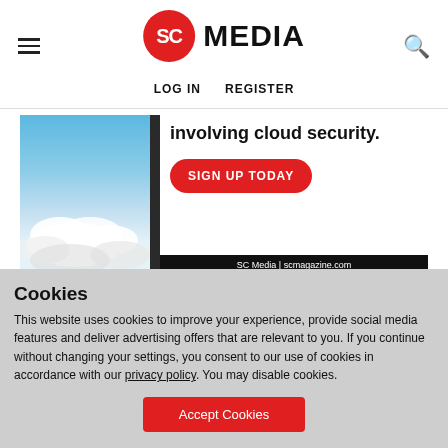SC MEDIA | LOG IN | REGISTER
[Figure (illustration): SC Media advertisement banner showing a cloudy sky image on the left, bold text reading 'involving cloud security.' with a red 'SIGN UP TODAY' button, and a black footer bar reading 'SC Media | scmagazine.com']
Cookies
This website uses cookies to improve your experience, provide social media features and deliver advertising offers that are relevant to you. If you continue without changing your settings, you consent to our use of cookies in accordance with our privacy policy. You may disable cookies.
Accept Cookies